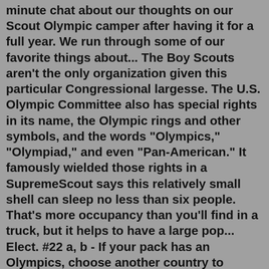minute chat about our thoughts on our Scout Olympic camper after having it for a full year. We run through some of our favorite things about... The Boy Scouts aren't the only organization given this particular Congressional largesse. The U.S. Olympic Committee also has special rights in its name, the Olympic rings and other symbols, and the words "Olympics," "Olympiad," and even "Pan-American." It famously wielded those rights in a SupremeScout says this relatively small shell can sleep no less than six people. That's more occupancy than you'll find in a truck, but it helps to have a large pop... Elect. #22 a, b - If your pack has an Olympics, choose another country to represent and learn some words and numbers in their language; Elect. #22e - invite a friend to take part in some fun Cub Scout physical activities; Elect. #23 - attend Cub Scout Summer camp and prepare and participate in summer camping. (Review the Hug a Tree ...Visit my new scout leader resource site, Use Resources Wisely. The Sochi Olympics are just a few weeks away, and we're planning to celebrate it and